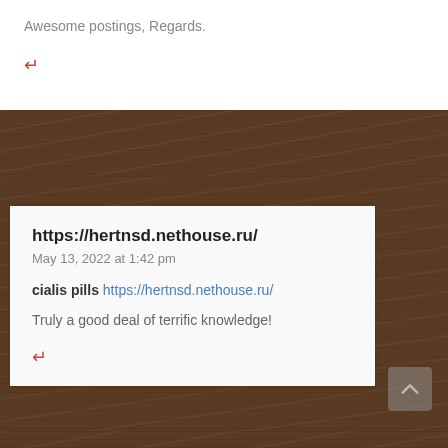Awesome postings, Regards.
↩
https://hertnsd.nethouse.ru/
May 13, 2022 at 1:42 pm
cialis pills https://hertnsd.nethouse.ru/
Truly a good deal of terrific knowledge!
↩